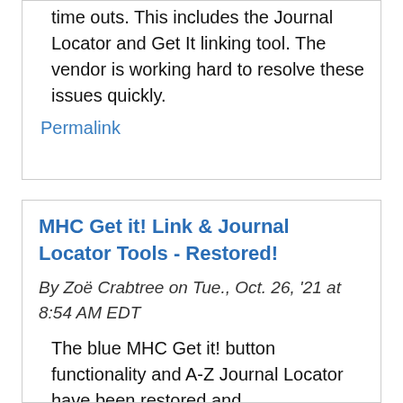time outs.  This includes the Journal Locator and Get It linking tool.  The vendor is working hard to resolve these issues quickly.
Permalink
MHC Get it! Link & Journal Locator Tools - Restored!
By Zoë Crabtree on Tue., Oct. 26, '21 at 8:54 AM EDT
The blue MHC Get it! button functionality and A-Z Journal Locator have been restored and